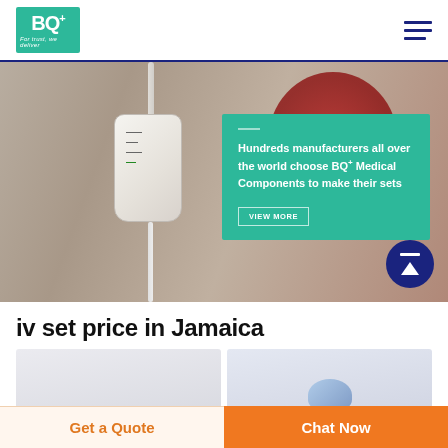[Figure (logo): BQ+ Medical logo — teal square with BQ+ text and tagline 'For trust, we deliver']
[Figure (photo): Hero banner showing an IV drip chamber close-up with a red/blurred background, with a teal overlay box containing promotional text and a 'VIEW MORE' button, plus a navy scroll-to-top button]
iv set price in Jamaica
[Figure (photo): Light grey product card showing IV set component on left]
[Figure (photo): Light grey-blue product card showing a blue IV connector/needle on right]
Get a Quote
Chat Now